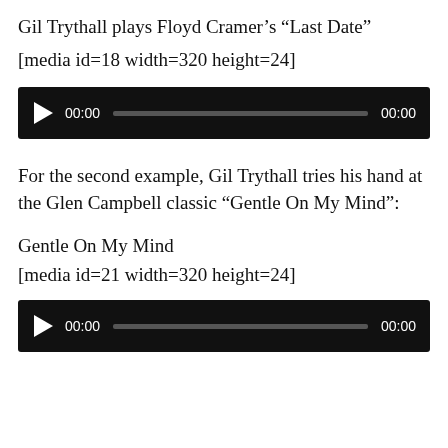Gil Trythall plays Floyd Cramer’s “Last Date”
[media id=18 width=320 height=24]
[Figure (other): Audio media player with play button, time display 00:00, progress bar, and end time 00:00 on dark background]
For the second example, Gil Trythall tries his hand at the Glen Campbell classic “Gentle On My Mind”:
Gentle On My Mind
[media id=21 width=320 height=24]
[Figure (other): Audio media player with play button, time display 00:00, progress bar, and end time 00:00 on dark background]